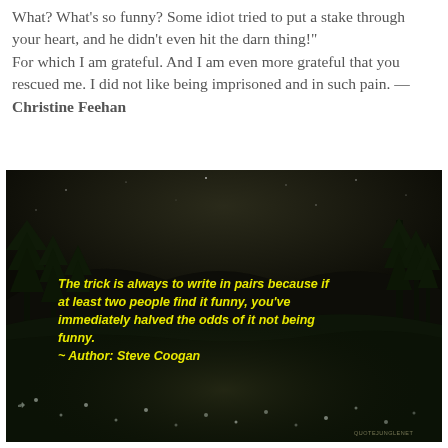What? What's so funny? Some idiot tried to put a stake through your heart, and he didn't even hit the darn thing!"
For which I am grateful. And I am even more grateful that you rescued me. I did not like being imprisoned and in such pain. — Christine Feehan
[Figure (photo): Dark night scene with silhouetted trees against a dark sky, with a meadow in the foreground containing small white flowers. Yellow italic bold text overlay reads: 'The trick is always to write in pairs because if at least two people find it funny, you've immediately halved the odds of it not being funny. ~ Author: Steve Coogan']